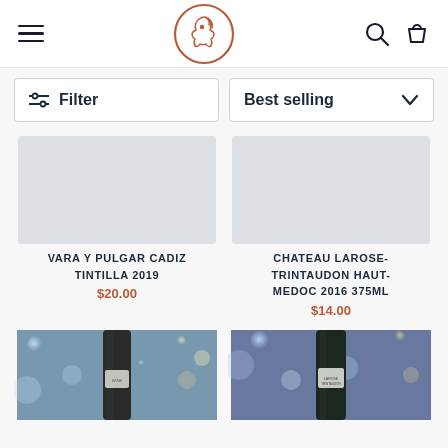Navigation header with hamburger menu, horse logo, search and cart icons
Filter
Best selling
VARA Y PULGAR CADIZ TINTILLA 2019
$20.00
CHATEAU LAROSE-TRINTAUDON HAUT-MEDOC 2016 375ML
$14.00
[Figure (photo): Wine bottle neck close-up against bokeh background with blue and warm lights]
[Figure (photo): Wine bottle neck close-up against bokeh background with blue and warm lights]